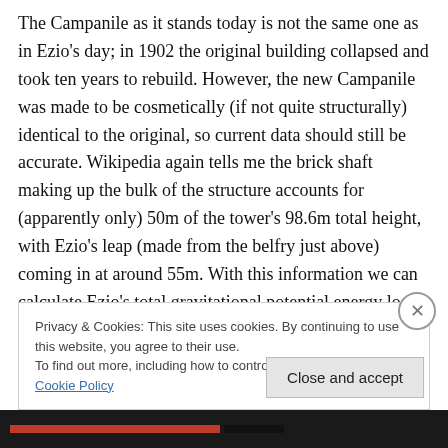The Campanile as it stands today is not the same one as in Ezio's day; in 1902 the original building collapsed and took ten years to rebuild. However, the new Campanile was made to be cosmetically (if not quite structurally) identical to the original, so current data should still be accurate. Wikipedia again tells me the brick shaft making up the bulk of the structure accounts for (apparently only) 50m of the tower's 98.6m total height, with Ezio's leap (made from the belfry just above) coming in at around 55m. With this information we can calculate Ezio's total gravitational potential energy lost during his fall: GPE lost
Privacy & Cookies: This site uses cookies. By continuing to use this website, you agree to their use.
To find out more, including how to control cookies, see here: Cookie Policy
Close and accept